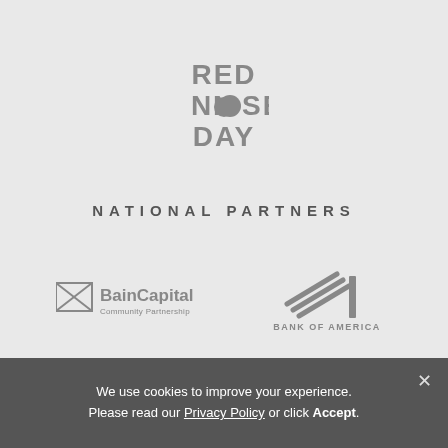[Figure (logo): Red Nose Day logo in gray, stacked text reading RED NOSE DAY with a circle as the O in NOSE]
NATIONAL PARTNERS
[Figure (logo): Bain Capital Community Partnership logo in gray]
[Figure (logo): Bank of America logo in gray with diagonal striped flag icon]
[Figure (logo): Celanese Foundation logo in gray with heart icon]
[Figure (logo): CSX logo in large bold gray letters with upward arrow]
We use cookies to improve your experience. Please read our Privacy Policy or click Accept.